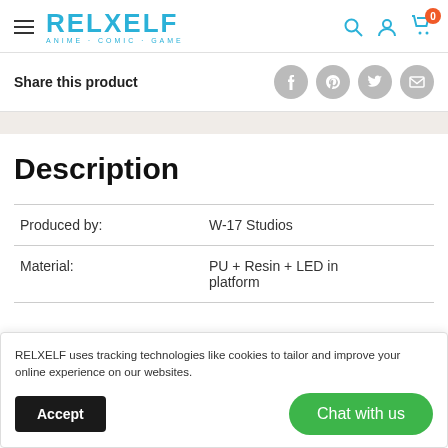RELXELF ANIME · COMIC · GAME
Share this product
Description
|  |  |
| --- | --- |
| Produced by: | W-17 Studios |
| Material: | PU + Resin + LED in platform |
RELXELF uses tracking technologies like cookies to tailor and improve your online experience on our websites.